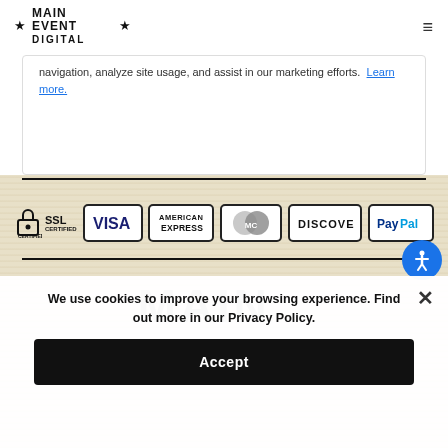[Figure (logo): Main Event Digital logo with stars]
navigation, analyze site usage, and assist in our marketing efforts. Learn more.
[Figure (infographic): Payment method icons: SSL Certified, Visa, American Express, MasterCard, Discover, PayPal]
[Figure (logo): Main Event Digital large footer logo text MAIN]
We use cookies to improve your browsing experience. Find out more in our Privacy Policy.
Accept